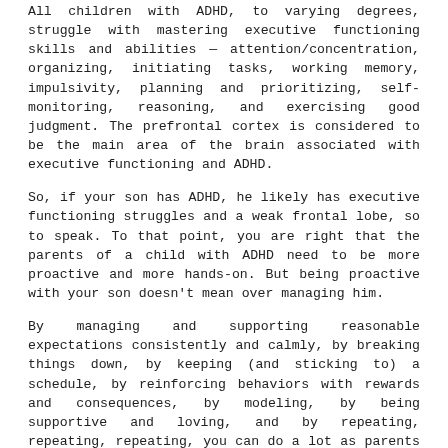All children with ADHD, to varying degrees, struggle with mastering executive functioning skills and abilities — attention/concentration, organizing, initiating tasks, working memory, impulsivity, planning and prioritizing, self-monitoring, reasoning, and exercising good judgment. The prefrontal cortex is considered to be the main area of the brain associated with executive functioning and ADHD.
So, if your son has ADHD, he likely has executive functioning struggles and a weak frontal lobe, so to speak. To that point, you are right that the parents of a child with ADHD need to be more proactive and more hands-on. But being proactive with your son doesn't mean over managing him.
By managing and supporting reasonable expectations consistently and calmly, by breaking things down, by keeping (and sticking to) a schedule, by reinforcing behaviors with rewards and consequences, by modeling, by being supportive and loving, and by repeating, repeating, repeating, you can do a lot as parents to bring about change for your child.
Manage & Support Reasonable Expectations
[Figure (other): Social media share buttons: Facebook (blue), Twitter (light blue), Instagram (blue-teal)]